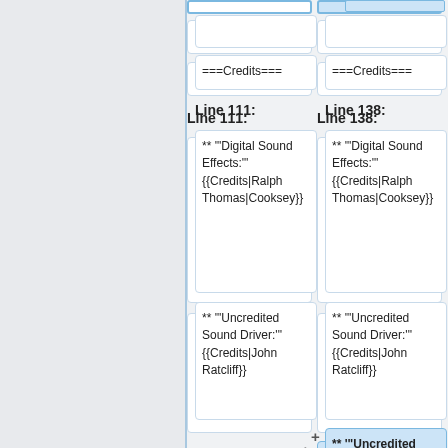===Credits===
===Credits===
Line 111:
Line 138:
** '"Digital Sound Effects:'" {{Credits|Ralph Thomas|Cooksey}}
** '"Digital Sound Effects:'" {{Credits|Ralph Thomas|Cooksey}}
** '"Uncredited Sound Driver:'" {{Credits|John Ratcliff}}
** '"Uncredited Sound Driver:'" {{Credits|John Ratcliff}}
** '"Uncredited Sound Effects:'" {{Credits|Brian Lowe}}
** '"Uncredited